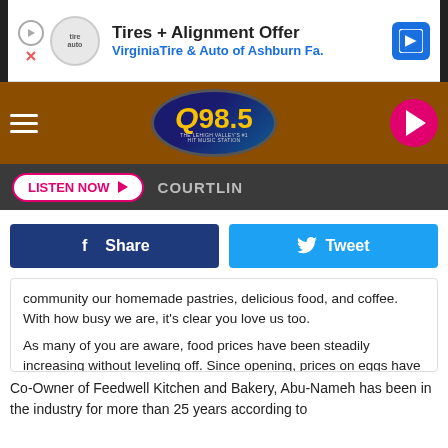[Figure (screenshot): Advertisement banner: Tires + Alignment Offer, VirginiaTire & Auto of Ashburn Fa.]
[Figure (logo): Q98.5 The Lehigh Valley's #1 Hit Music Station radio logo on brown nav bar with hamburger menu and play button]
LISTEN NOW ▶   COURTLIN
[Figure (infographic): Facebook Share button (dark blue) and Tweet button (light blue)]
community our homemade pastries, delicious food, and coffee. With how busy we are, it's clear you love us too.

As many of you are aware, food prices have been steadily increasing without leveling off. Since opening, prices on eggs have increased by 150% and butter by 50% for example. We share this information as these are two crucial ingredients in our daily operations. ... See more
👍 265   💬 33   ➦ 3
Co-Owner of Feedwell Kitchen and Bakery, Abu-Nameh has been in the industry for more than 25 years according to